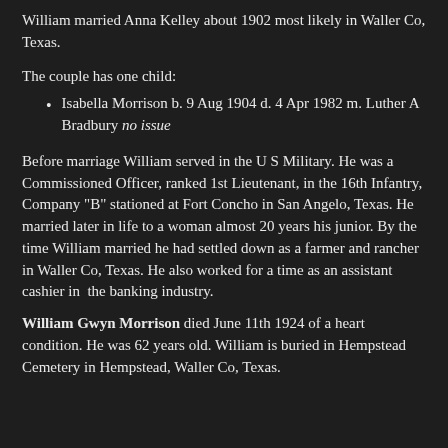William married Anna Kelley about 1902 most likely in Waller Co, Texas.
The couple has one child:
Isabella Morrison b. 9 Aug 1904 d. 4 Apr 1982 m. Luther A Bradbury no issue
Before marriage William served in the U S Military. He was a Commissioned Officer, ranked 1st Lieutenant, in the 16th Infantry, Company "B" stationed at Fort Concho in San Angelo, Texas. He married later in life to a woman almost 20 years his junior. By the time William married he had settled down as a farmer and rancher in Waller Co, Texas. He also worked for a time as an assistant cashier in the banking industry.
William Gwyn Morrison died June 11th 1924 of a heart condition. He was 62 years old. William is buried in Hempstead Cemetery in Hempstead, Waller Co, Texas.